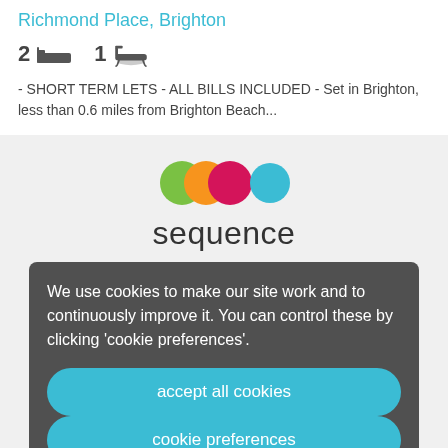Richmond Place, Brighton
2 [bed icon] 1 [bath icon]
- SHORT TERM LETS - ALL BILLS INCLUDED - Set in Brighton, less than 0.6 miles from Brighton Beach...
[Figure (logo): Sequence estate agency logo with overlapping coloured circles (green, orange, pink/red, blue) above the word 'sequence' in dark text]
We use cookies to make our site work and to continuously improve it. You can control these by clicking 'cookie preferences'.
accept all cookies
cookie preferences